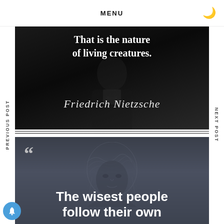MENU
PREVIOUS POST
NEXT POST
[Figure (illustration): Dark quote card with a figure in a suit and text overlay reading 'That is the nature of living creatures.' attributed to Friedrich Nietzsche in cursive script]
[Figure (illustration): Dark grey quote card with an engraving-style portrait and large white text beginning 'The wisest people follow their own' with an open quotation mark]